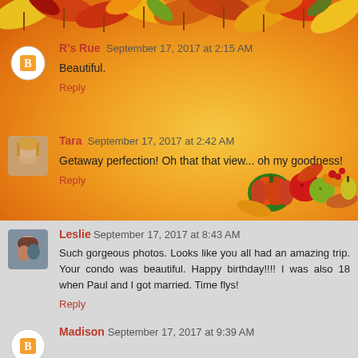[Figure (illustration): Autumn/fall decorative background with orange gradient and autumn leaves at top, fruits and pumpkins decoration at bottom right]
R's Rue  September 17, 2017 at 2:15 AM
Beautiful.
Reply
Tara  September 17, 2017 at 2:42 AM
Getaway perfection! Oh that that view... oh my goodness!
Reply
Leslie  September 17, 2017 at 8:43 AM
Such gorgeous photos. Looks like you all had an amazing trip. Your condo was beautiful. Happy birthday!!!! I was also 18 when Paul and I got married. Time flys!
Reply
Madison  September 17, 2017 at 9:39 AM